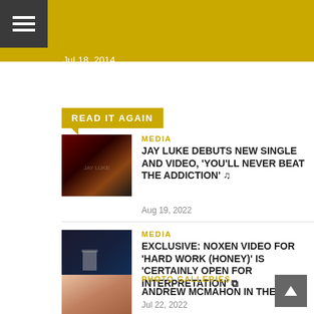Jul 18, 2014
READ IT AGAIN
MEDIA
JAY LUKE DEBUTS NEW SINGLE AND VIDEO, 'YOU'LL NEVER BEAT THE ADDICTION' ♪
Aug 19, 2022
MEDIA
EXCLUSIVE: NOXEN VIDEO FOR 'HARD WORK (HONEY)' IS 'CERTAINLY OPEN FOR INTERPRETATION' ⊞
Jul 22, 2022
PHOTO GALLERIES
ANDREW McMAHON IN THE